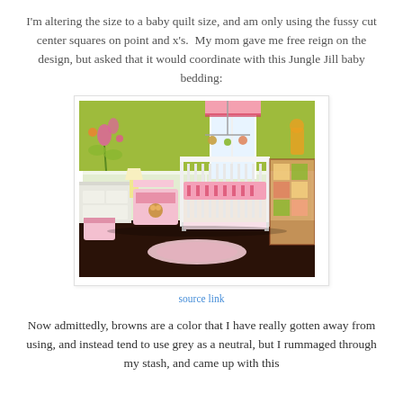I'm altering the size to a baby quilt size, and am only using the fussy cut center squares on point and x's.  My mom gave me free reign on the design, but asked that it would coordinate with this Jungle Jill baby bedding:
[Figure (photo): Photo of a baby nursery with Jungle Jill bedding set. The room has lime green walls, a white crib with pink and brown patterned bedding, a giraffe mobile, stuffed animals, a rug with jungle animals, and matching accessories including a diaper bag and crib skirt.]
source link
Now admittedly, browns are a color that I have really gotten away from using, and instead tend to use grey as a neutral, but I rummaged through my stash, and came up with this